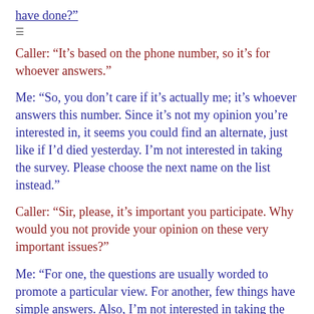have done?"
≡
Caller: “It’s based on the phone number, so it’s for whoever answers.”
Me: “So, you don’t care if it’s actually me; it’s whoever answers this number. Since it’s not my opinion you’re interested in, it seems you could find an alternate, just like if I’d died yesterday. I’m not interested in taking the survey. Please choose the next name on the list instead.”
Caller: “Sir, please, it’s important you participate. Why would you not provide your opinion on these very important issues?”
Me: “For one, the questions are usually worded to promote a particular view. For another, few things have simple answers. Also, I’m not interested in taking the survey.”
Caller: “The answers allow for varied opinions, and you can skip any answers that you don’t feel comfortable